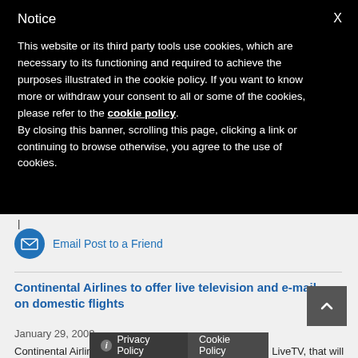Notice
This website or its third party tools use cookies, which are necessary to its functioning and required to achieve the purposes illustrated in the cookie policy. If you want to know more or withdraw your consent to all or some of the cookies, please refer to the cookie policy.
By closing this banner, scrolling this page, clicking a link or continuing to browse otherwise, you agree to the use of cookies.
Email Post to a Friend
Continental Airlines to offer live television and e-mail on domestic flights
January 29, 2008
Continental Airlines has entered into an agreement with LiveTV, that will allow ffa s of live, inflight